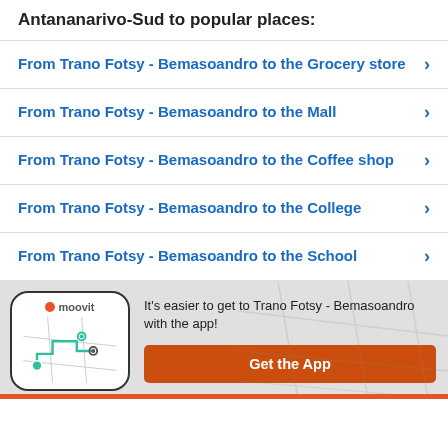Antananarivo-Sud to popular places:
From Trano Fotsy - Bemasoandro to the Grocery store
From Trano Fotsy - Bemasoandro to the Mall
From Trano Fotsy - Bemasoandro to the Coffee shop
From Trano Fotsy - Bemasoandro to the College
From Trano Fotsy - Bemasoandro to the School
[Figure (screenshot): Moovit app promotional section with phone mockup showing a map with route, Moovit logo, and a 'Get the App' button]
It's easier to get to Trano Fotsy - Bemasoandro with the app!